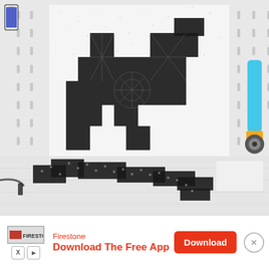[Figure (photo): Photo of a quilt block with a bat design in black spider-web fabric on white speckled background, hanging on a pegboard wall. A rotary cutter (blue and yellow) is visible on the right. On the floor in the lower half is another bat quilt block laid flat, in black polka-dot fabric on white.]
[Figure (infographic): Advertisement banner for Firestone app. Shows Firestone logo, 'Download The Free App' text in red, a red Download button, social media icons (X and play), and a circular close (X) button.]